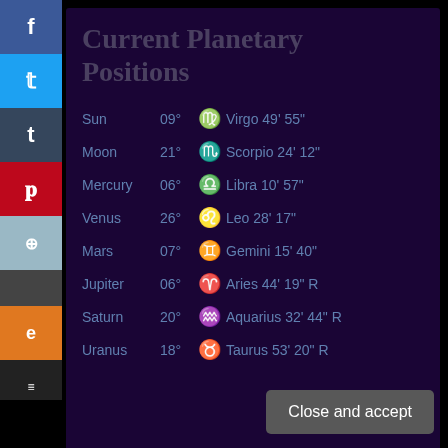Current Planetary Positions
| Planet | Degree | Symbol | Position |
| --- | --- | --- | --- |
| Sun | 09° | ♍ | Virgo 49' 55" |
| Moon | 21° | ♏ | Scorpio 24' 12" |
| Mercury | 06° | ♎ | Libra 10' 57" |
| Venus | 26° | ♌ | Leo 28' 17" |
| Mars | 07° | ♊ | Gemini 15' 40" |
| Jupiter | 06° | ♈ | Aries 44' 19" R |
| Saturn | 20° | ♒ | Aquarius 32' 44" R |
| Uranus | 18° | ♉ | Taurus 53' 20" R |
Privacy & Cookies: This site uses cookies. By continuing to use this website, you agree to their use.
To find out more, including how to control cookies, see here: Cookie Policy